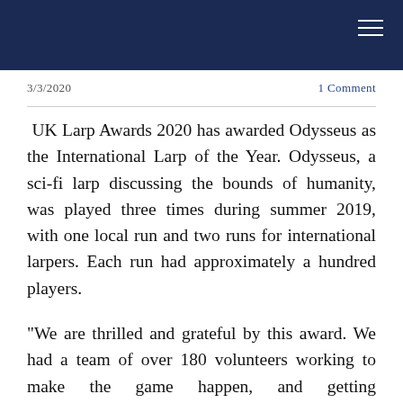3/3/2020
1 Comment
UK Larp Awards 2020 has awarded Odysseus as the International Larp of the Year. Odysseus, a sci-fi larp discussing the bounds of humanity, was played three times during summer 2019, with one local run and two runs for international larpers. Each run had approximately a hundred players.
"We are thrilled and grateful by this award. We had a team of over 180 volunteers working to make the game happen, and getting acknowledged for all the effort feels wonderful," comments Producer Laura Kröger. "It is especially important to us, as Finland has not hosted